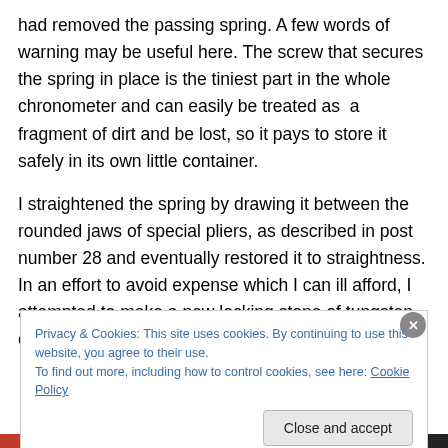had removed the passing spring. A few words of warning may be useful here. The screw that secures the spring in place is the tiniest part in the whole chronometer and can easily be treated as a fragment of dirt and be lost, so it pays to store it safely in its own little container.
I straightened the spring by drawing it between the rounded jaws of special pliers, as described in post number 28 and eventually restored it to straightness. In an effort to avoid expense which I can ill afford, I attempted to make a new locking stone of tungsten carbide, as
Privacy & Cookies: This site uses cookies. By continuing to use this website, you agree to their use.
To find out more, including how to control cookies, see here: Cookie Policy